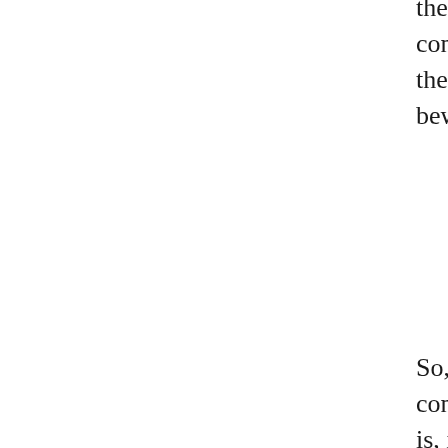the books had been painstakingly constructed so you could read them in any order and be equally bewildered and delighted….)
So, the bottom-line question that confronts a reviewer of this book is, if you loved Gideon and Harrow, will you love Nona? And: obvs. You already know.
Nona the Ninth is very on brand in that it completely scraps the previous book. That's right: all that painstaking lore and the complex relationships and